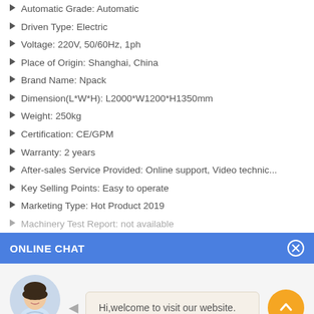Automatic Grade: Automatic
Driven Type: Electric
Voltage: 220V, 50/60Hz, 1ph
Place of Origin: Shanghai, China
Brand Name: Npack
Dimension(L*W*H): L2000*W1200*H1350mm
Weight: 250kg
Certification: CE/GPM
Warranty: 2 years
After-sales Service Provided: Online support, Video technic...
Key Selling Points: Easy to operate
Marketing Type: Hot Product 2019
Machinery Test Report: not available
ONLINE CHAT
[Figure (photo): Avatar photo of a woman named Cilina with chat bubble saying Hi,welcome to visit our website.]
Cilina